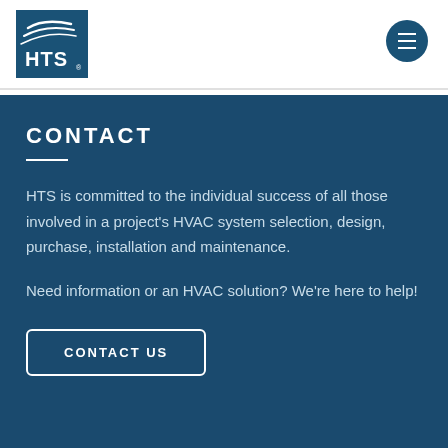[Figure (logo): HTS company logo with stylized swoosh lines above HTS text on blue background]
[Figure (other): Hamburger menu button (three horizontal lines) on dark blue circular background]
CONTACT
HTS is committed to the individual success of all those involved in a project's HVAC system selection, design, purchase, installation and maintenance.
Need information or an HVAC solution? We're here to help!
CONTACT US